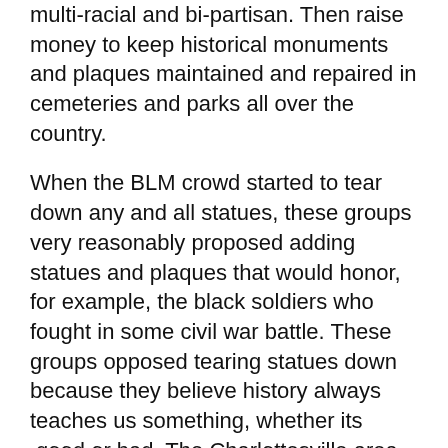multi-racial and bi-partisan. Then raise money to keep historical monuments and plaques maintained and repaired in cemeteries and parks all over the country.
When the BLM crowd started to tear down any and all statues, these groups very reasonably proposed adding statues and plaques that would honor, for example, the black soldiers who fought in some civil war battle. These groups opposed tearing statues down because they believe history always teaches us something, whether its  good or bad. The Charlottesville area has one such group and they were opposed to the effort to tear down the Robert E. Lee